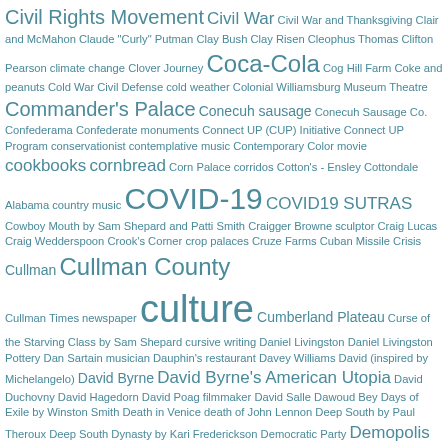Civil Rights Movement Civil War Civil War and Thanksgiving Clair and McMahon Claude "Curly" Putman Clay Bush Clay Risen Cleophus Thomas Clifton Pearson climate change Clover Journey Coca-Cola Cog Hill Farm Coke and peanuts Cold War Civil Defense cold weather Colonial Williamsburg Museum Theatre Commander's Palace Conecuh sausage Conecuh Sausage Co. Confederama Confederate monuments Connect UP (CUP) Initiative Connect UP Program conservationist contemplative music Contemporary Color movie cookbooks cornbread Corn Palace corridos Cotton's - Ensley Cottondale Alabama country music COVID-19 COVID19 SUTRAS Cowboy Mouth by Sam Shepard and Patti Smith Craigger Browne sculptor Craig Lucas Craig Wedderspoon Crook's Corner crop palaces Cruze Farms Cuban Missile Crisis Cullman Cullman County Cullman Times newspaper culture Cumberland Plateau Curse of the Starving Class by Sam Shepard cursive writing Daniel Livingston Daniel Livingston Pottery Dan Sartain musician Dauphin's restaurant Davey Williams David (inspired by Michelangelo) David Byrne David Byrne's American Utopia David Duchovny David Hagedorn David Poag filmmaker David Salle Dawoud Bey Days of Exile by Winston Smith Death in Venice death of John Lennon Deep South by Paul Theroux Deep South Dynasty by Kari Frederickson Democratic Party Demopolis Alabama Demopolis bicentennial Denny Stadium in Tuscaloosa DeSoto Falls State Park Devonte Hines Dignity by Chris Arnade dining in Birmingham dining in Lexington KY Distracted by Alabama by James Seay Brown Jr. DNC dogtrot houses Dol documentary Dominic Scott Donal Mosher and Michael Palmieri Don Draper Don Lawler sculptor Donna and Doug Woodford Donna Godchaux Doris Day Dr. Benjamin Yarbrough Dr. Bo Gabbert Dr. Herbert Thomas Dragonfly Foodbar Dreamland barbecue Dreamland BBQ duck and cover duck and waffles Dura Graves McCarn dystopia dystopian literature E.O. Wilson Eames chairs Earth Day 2015